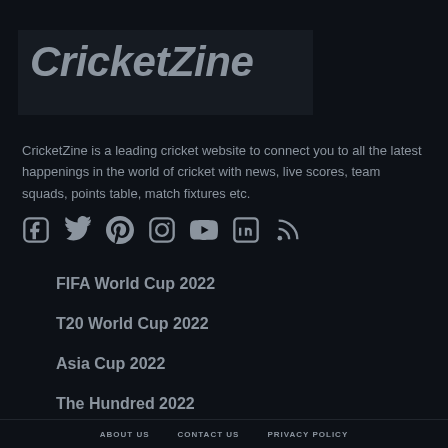CricketZine
CricketZine is a leading cricket website to connect you to all the latest happenings in the world of cricket with news, live scores, team squads, points table, match fixtures etc.
[Figure (infographic): Row of 7 social media icons: Facebook, Twitter, Pinterest, Instagram, YouTube, LinkedIn, RSS]
FIFA World Cup 2022
T20 World Cup 2022
Asia Cup 2022
The Hundred 2022
ABOUT US   CONTACT US   PRIVACY POLICY